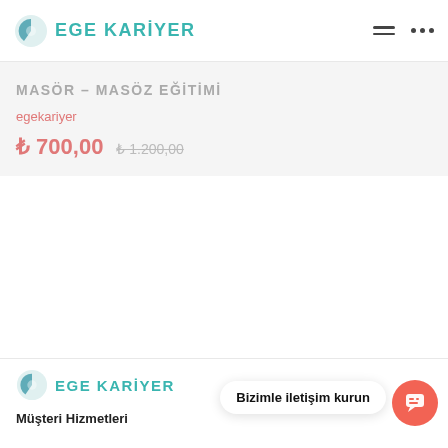EGE KARİYER
MASÖR – MASÖZ EĞİTİMİ
egekariyer
₺ 700,00  ₺ 1.200,00
[Figure (logo): Ege Kariyer logo with teal sphere icon]
Müşteri Hizmetleri
Bizimle iletişim kurun